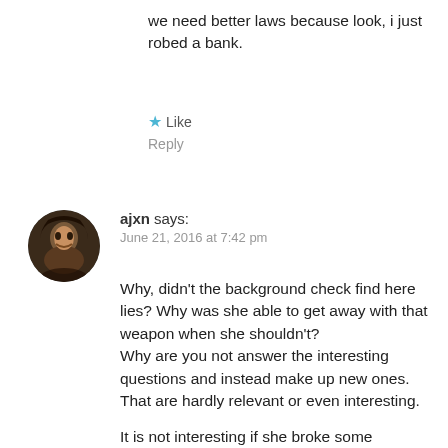we need better laws because look, i just robed a bank.
Like
Reply
[Figure (photo): Circular avatar image of a person with dark beard and hood]
ajxn says: June 21, 2016 at 7:42 pm
Why, didn't the background check find here lies? Why was she able to get away with that weapon when she shouldn't?
Why are you not answer the interesting questions and instead make up new ones. That are hardly relevant or even interesting.
It is not interesting if she broke some